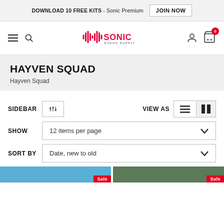DOWNLOAD 10 FREE KITS - Sonic Premium JOIN NOW
[Figure (logo): Sonic Sound Supply logo with pink waveform icon and SONIC text]
HAYVEN SQUAD
Hayven Squad
SIDEBAR
VIEW AS
SHOW  12 items per page
SORT BY  Date, new to old